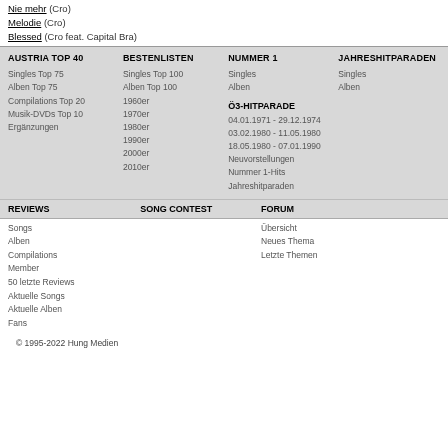Nie mehr (Cro)
Melodie (Cro)
Blessed (Cro feat. Capital Bra)
AUSTRIA TOP 40
BESTENLISTEN
NUMMER 1
JAHRESHITPARADEN
Singles Top 75
Alben Top 75
Compilations Top 20
Musik-DVDs Top 10
Ergänzungen
Singles Top 100
Alben Top 100
1960er
1970er
1980er
1990er
2000er
2010er
Singles
Alben
Singles
Alben
Ö3-HITPARADE
04.01.1971 - 29.12.1974
03.02.1980 - 11.05.1980
18.05.1980 - 07.01.1990
Neuvorstellungen
Nummer 1-Hits
Jahreshitparaden
REVIEWS
SONG CONTEST
FORUM
Songs
Alben
Compilations
Member
50 letzte Reviews
Aktuelle Songs
Aktuelle Alben
Fans
Übersicht
Neues Thema
Letzte Themen
© 1995-2022 Hung Medien